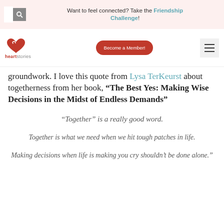Want to feel connected? Take the Friendship Challenge!
[Figure (logo): heart stories logo with red heart icon and 'Become a Member!' button and hamburger menu]
groundwork. I love this quote from Lysa TerKeurst about togetherness from her book, “The Best Yes: Making Wise Decisions in the Midst of Endless Demands”
“Together” is a really good word.
Together is what we need when we hit tough patches in life.
Making decisions when life is making you cry shouldn’t be done alone.”